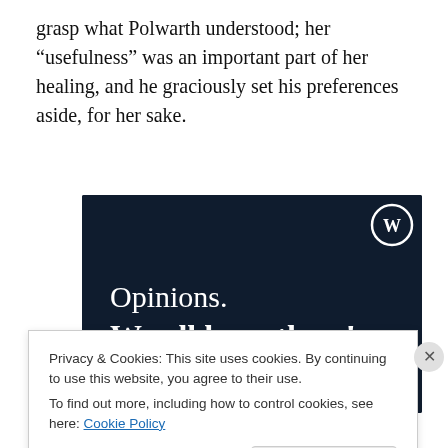grasp what Polwarth understood; her “usefulness” was an important part of her healing, and he graciously set his preferences aside, for her sake.
[Figure (illustration): WordPress advertisement with dark navy background, WordPress logo (W in circle) top right, white serif text reading 'Opinions. We all have them!', a pink rounded button bar at bottom left, and a white circle at bottom right.]
Privacy & Cookies: This site uses cookies. By continuing to use this website, you agree to their use.
To find out more, including how to control cookies, see here: Cookie Policy